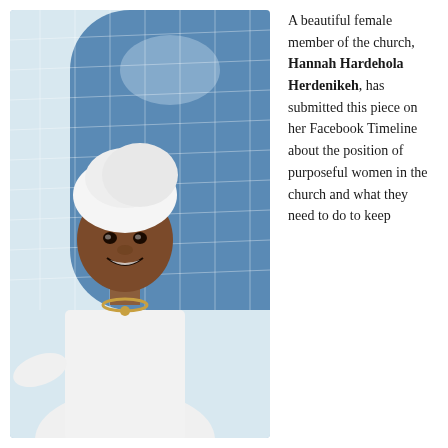[Figure (photo): A smiling African woman wearing a white dress and white head covering, standing in front of a blue tiled building. She is wearing a gold necklace.]
A beautiful female member of the church, Hannah Hardehola Herdenikeh, has submitted this piece on her Facebook Timeline about the position of purposeful women in the church and what they need to do to keep